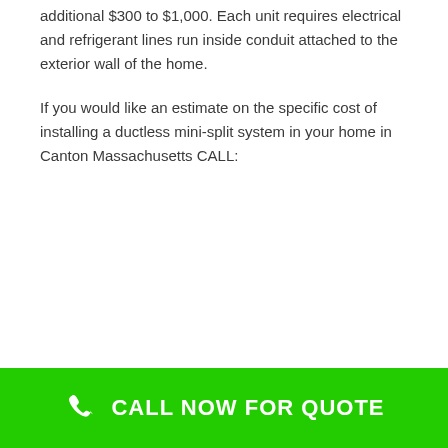additional $300 to $1,000. Each unit requires electrical and refrigerant lines run inside conduit attached to the exterior wall of the home.
If you would like an estimate on the specific cost of installing a ductless mini-split system in your home in Canton Massachusetts CALL:
CALL NOW FOR QUOTE